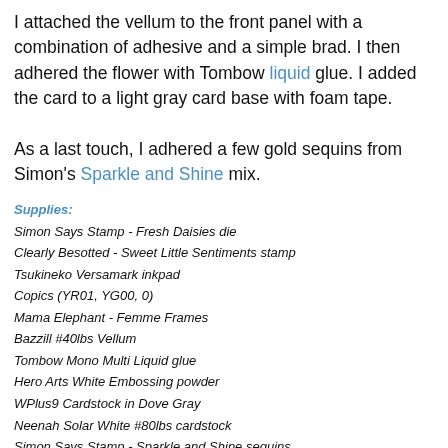I attached the vellum to the front panel with a combination of adhesive and a simple brad. I then adhered the flower with Tombow liquid glue. I added the card to a light gray card base with foam tape.

As a last touch, I adhered a few gold sequins from Simon's Sparkle and Shine mix.
Supplies:
Simon Says Stamp - Fresh Daisies die
Clearly Besotted - Sweet Little Sentiments stamp
Tsukineko Versamark inkpad
Copics (YR01, YG00, 0)
Mama Elephant - Femme Frames
Bazzill #40lbs Vellum
Tombow Mono Multi Liquid glue
Hero Arts White Embossing powder
WPlus9 Cardstock in Dove Gray
Neenah Solar White #80lbs cardstock
Simon Says Stamp - Sparkle and Shine sequins
Luparen at 8:33 AM